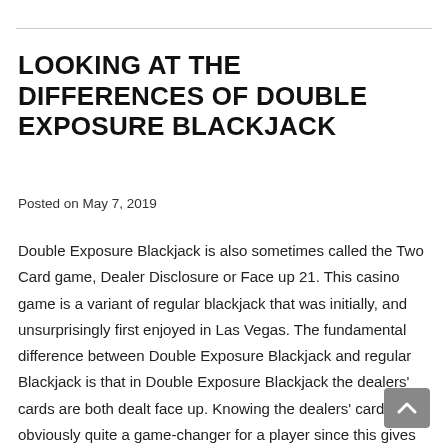LOOKING AT THE DIFFERENCES OF DOUBLE EXPOSURE BLACKJACK
Posted on May 7, 2019
Double Exposure Blackjack is also sometimes called the Two Card game, Dealer Disclosure or Face up 21. This casino game is a variant of regular blackjack that was initially, and unsurprisingly first enjoyed in Las Vegas. The fundamental difference between Double Exposure Blackjack and regular Blackjack is that in Double Exposure Blackjack the dealers' cards are both dealt face up. Knowing the dealers' cards is obviously quite a game-changer for a player since this gives them far greater betting information and knowledge regarding the requirements of their own hand.